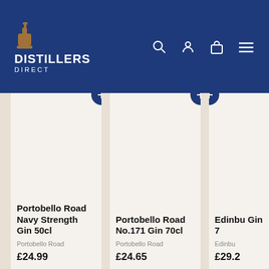DISTILLERS DIRECT
[Figure (screenshot): Product listing page for Distillers Direct showing three gin products: Portobello Road Navy Strength Gin 50cl at £24.99, Portobello Road No.171 Gin 70cl at £24.65, and Edinburgh Gin 70cl at £29.2x]
Portobello Road Navy Strength Gin 50cl
Portobello Road
£24.99
Portobello Road No.171 Gin 70cl
Portobello Road
£24.65
Edinbu... Gin 7...
Edinbu...
£29.2...